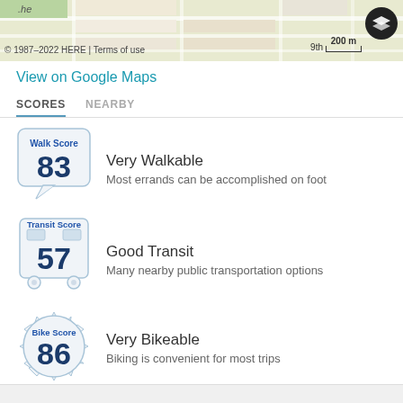[Figure (map): Street map tile showing city grid with copyright 1987-2022 HERE, scale bar showing 200m, and a layers icon button]
© 1987–2022 HERE | Terms of use
View on Google Maps
SCORES	NEARBY
[Figure (infographic): Walk Score badge showing score of 83 in a speech bubble shape, labeled 'Walk Score']
Very Walkable
Most errands can be accomplished on foot
[Figure (infographic): Transit Score badge showing score of 57 in a bus shape, labeled 'Transit Score']
Good Transit
Many nearby public transportation options
[Figure (infographic): Bike Score badge showing score of 86 in a gear/starburst shape, labeled 'Bike Score']
Very Bikeable
Biking is convenient for most trips
View map of nearby restaurants, grocery stores, and more.